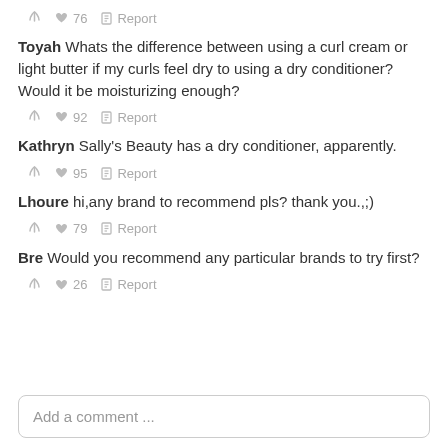↩ ♥ 76 ⚑ Report
Toyah Whats the difference between using a curl cream or light butter if my curls feel dry to using a dry conditioner? Would it be moisturizing enough?
↩ ♥ 92 ⚑ Report
Kathryn Sally's Beauty has a dry conditioner, apparently.
↩ ♥ 95 ⚑ Report
Lhoure hi,any brand to recommend pls? thank you.,;)
↩ ♥ 79 ⚑ Report
Bre Would you recommend any particular brands to try first?
↩ ♥ 26 ⚑ Report
Add a comment ...